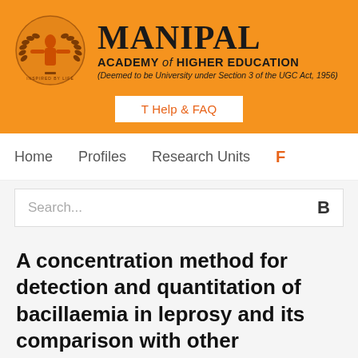[Figure (logo): Manipal Academy of Higher Education logo with orange emblem and laurel wreath, text reads MANIPAL ACADEMY of HIGHER EDUCATION (Deemed to be University under Section 3 of the UGC Act, 1956)]
T Help & FAQ
Home   Profiles   Research Units   F
Search...
A concentration method for detection and quantitation of bacillaemia in leprosy and its comparison with other techniques